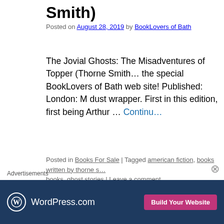Smith)
Posted on August 28, 2019 by BookLovers of Bath
The Jovial Ghosts: The Misadventures of Topper (Thorne Smith) the special BookLovers of Bath web site! Published: London: M dust wrapper. First in this edition, first being Arthur … Continue
Posted in Books For Sale | Tagged american fiction, books written by thorne s books, ghost stories | Leave a comment
Advertisements
[Figure (other): WordPress.com advertisement banner with logo and 'Build Your Website' pink button on dark blue background]